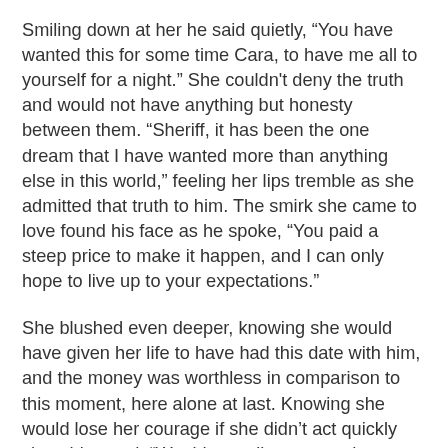Smiling down at her he said quietly, “You have wanted this for some time Cara, to have me all to yourself for a night.” She couldn't deny the truth and would not have anything but honesty between them. “Sheriff, it has been the one dream that I have wanted more than anything else in this world,” feeling her lips tremble as she admitted that truth to him. The smirk she came to love found his face as he spoke, “You paid a steep price to make it happen, and I can only hope to live up to your expectations.”
She blushed even deeper, knowing she would have given her life to have had this date with him, and the money was worthless in comparison to this moment, here alone at last. Knowing she would lose her courage if she didn’t act quickly she whispered, “Would you allow me to show you something,” her hand trembled as she held hers out for him to take. It was a brave move for her, and she hoped he wouldn't deny her simple request.
She had planned this night out for what seemed liked forever in her mind, but all of her well laid plans disappeared except